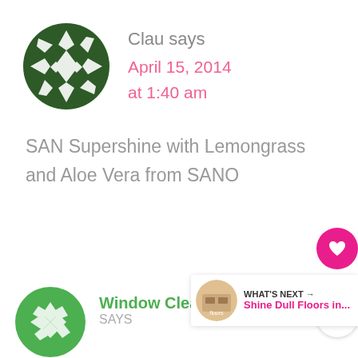[Figure (illustration): Dark green geometric quilt-pattern circular avatar icon]
Clau says
April 15, 2014 at 1:40 am
SAN Supershine with Lemongrass and Aloe Vera from SANO
[Figure (illustration): Heart icon on pink circle (like button) with count 7 and share icon below]
[Figure (illustration): Green geometric quilt-pattern circular avatar icon for next comment]
Window Cleaning
WHAT'S NEXT → Shine Dull Floors in...